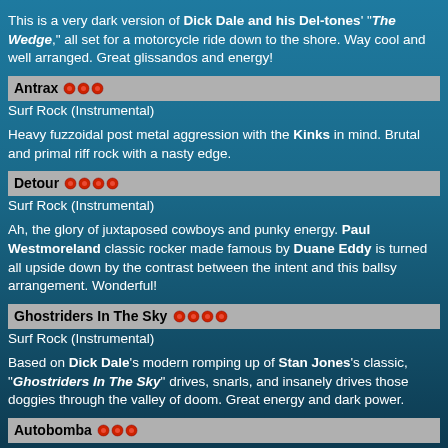This is a very dark version of Dick Dale and his Del-tones' "The Wedge," all set for a motorcycle ride down to the shore. Way cool and well arranged. Great glissandos and energy!
Antrax ❤❤❤
Surf Rock (Instrumental)
Heavy fuzzoidal post metal aggression with the Kinks in mind. Brutal and primal riff rock with a nasty edge.
Detour ❤❤❤❤
Surf Rock (Instrumental)
Ah, the glory of juxtaposed cowboys and punky energy. Paul Westmoreland classic rocker made famous by Duane Eddy is turned all upside down by the contrast between the intent and this ballsy arrangement. Wonderful!
Ghostriders In The Sky ❤❤❤❤
Surf Rock (Instrumental)
Based on Dick Dale's modern romping up of Stan Jones's classic, "Ghostriders In The Sky" drives, snarls, and insanely drives those doggies through the valley of doom. Great energy and dark power.
Autobomba ❤❤❤
Surf Rock (Instrumental)